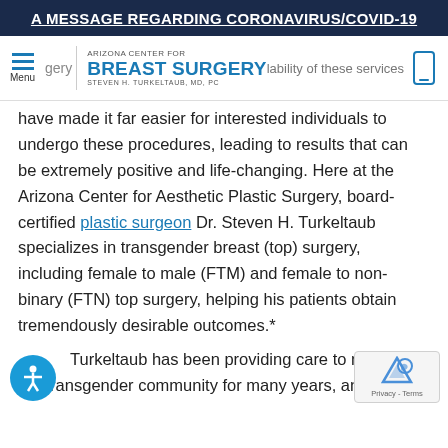A MESSAGE REGARDING CORONAVIRUS/COVID-19
[Figure (logo): Arizona Center for Breast Surgery logo with menu icon and phone icon navigation bar]
have made it far easier for interested individuals to undergo these procedures, leading to results that can be extremely positive and life-changing. Here at the Arizona Center for Aesthetic Plastic Surgery, board-certified plastic surgeon Dr. Steven H. Turkeltaub specializes in transgender breast (top) surgery, including female to male (FTM) and female to non-binary (FTN) top surgery, helping his patients obtain tremendously desirable outcomes.*
Turkeltaub has been providing care to mem of the transgender community for many years, and he